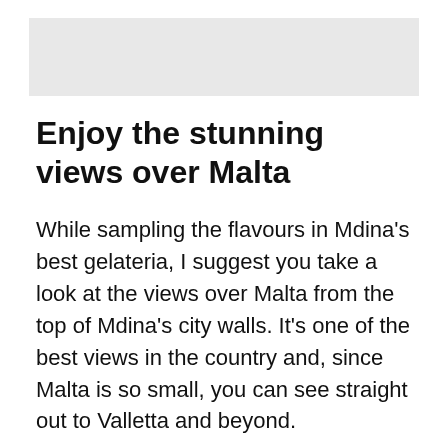[Figure (photo): A photo placeholder (light grey rectangle) at the top of the page.]
Enjoy the stunning views over Malta
While sampling the flavours in Mdina’s best gelateria, I suggest you take a look at the views over Malta from the top of Mdina’s city walls. It’s one of the best views in the country and, since Malta is so small, you can see straight out to Valletta and beyond.
And you don’t have to climb hundreds